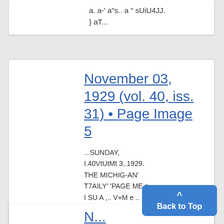a. a-' a"s.. a " sUiU4JJ. } aT...
November 03, 1929 (vol. 40, iss. 31) • Page Image 5
...SUNDAY, I.40VtUtMt 3,.1929. THE MICHIG-AN' T7AILY' 'PAGE ME a - I SU A ,.. V+M e .. 92..G!~'V .. ; P
N...